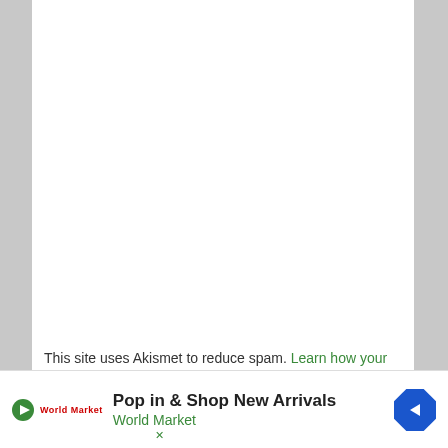This site uses Akismet to reduce spam. Learn how your comment data is processed.
[Figure (other): Advertisement banner for World Market - Pop in & Shop New Arrivals, with play button icon, World Market logo, and blue diamond navigation arrow icon.]